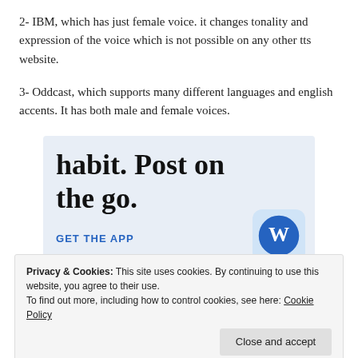2- IBM, which has just female voice. it changes tonality and expression of the voice which is not possible on any other tts website.
3- Oddcast, which supports many different languages and english accents. It has both male and female voices.
[Figure (screenshot): WordPress mobile app advertisement with text 'habit. Post on the go.' and 'GET THE APP' link with WordPress logo icon]
Privacy & Cookies: This site uses cookies. By continuing to use this website, you agree to their use.
To find out more, including how to control cookies, see here: Cookie Policy
Close and accept